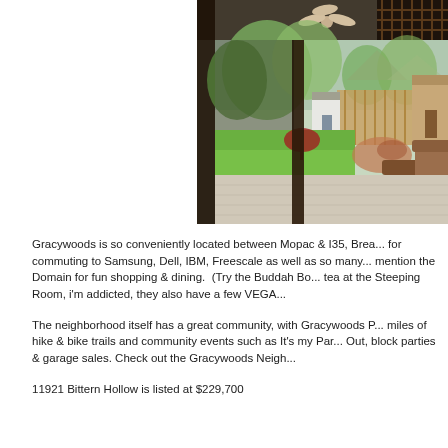[Figure (photo): Covered patio/backyard area of a house showing wicker chairs on a concrete patio, a lush green lawn, garden beds, trees, wooden fence, and a ceiling fan overhead.]
Gracywoods is so conveniently located between Mopac & I35, Brea... for commuting to Samsung, Dell, IBM, Freescale as well as so many... mention the Domain for fun shopping & dining. (Try the Buddah Bo... tea at the Steeping Room, i'm addicted, they also have a few VEGA...
The neighborhood itself has a great community, with Gracywoods P... miles of hike & bike trails and community events such as It's my Par... Out, block parties & garage sales. Check out the Gracywoods Neigh...
11921 Bittern Hollow is listed at $229,700